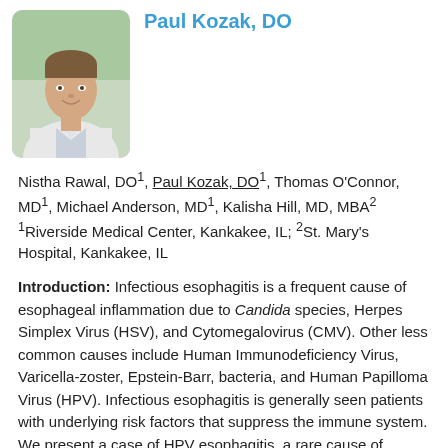[Figure (photo): Headshot photo of Paul Kozak, DO, a young man in a white coat, smiling, with a blurred outdoor background]
Paul Kozak, DO
Nistha Rawal, DO¹, Paul Kozak, DO¹, Thomas O’Connor, MD¹, Michael Anderson, MD¹, Kalisha Hill, MD, MBA²
¹Riverside Medical Center, Kankakee, IL; ²St. Mary’s Hospital, Kankakee, IL
Introduction: Infectious esophagitis is a frequent cause of esophageal inflammation due to Candida species, Herpes Simplex Virus (HSV), and Cytomegalovirus (CMV). Other less common causes include Human Immunodeficiency Virus, Varicella-zoster, Epstein-Barr, bacteria, and Human Papilloma Virus (HPV). Infectious esophagitis is generally seen patients with underlying risk factors that suppress the immune system. We present a case of HPV esophagitis, a rare cause of infectious esophagitis in